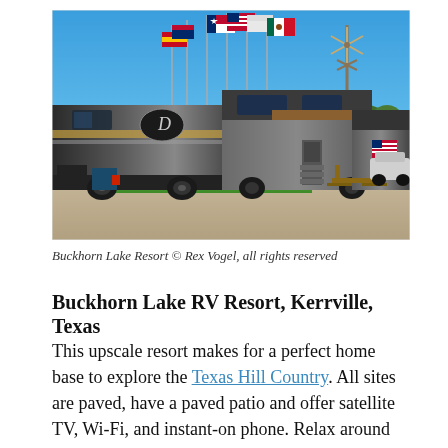[Figure (photo): Outdoor photo of Buckhorn Lake RV Resort showing large luxury RVs parked on paved sites with multiple international flags on tall poles and a windmill in the background under a clear blue sky]
Buckhorn Lake Resort © Rex Vogel, all rights reserved
Buckhorn Lake RV Resort, Kerrville, Texas
This upscale resort makes for a perfect home base to explore the Texas Hill Country. All sites are paved, have a paved patio and offer satellite TV, Wi-Fi, and instant-on phone. Relax around